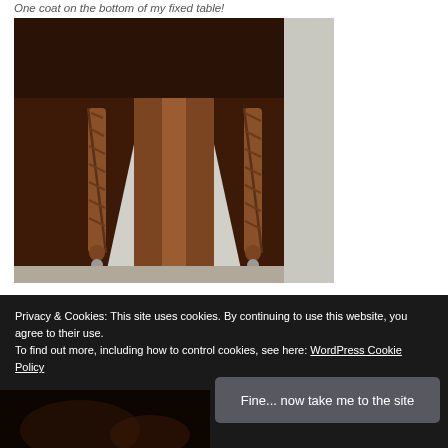One coat on the bottom of my fixed table!
[Figure (photo): Underside view of a wooden table with twisted barley-twist legs, showing the bottom surface after applying a coat of finish. Dark mahogany stained wood.]
Privacy & Cookies: This site uses cookies. By continuing to use this website, you agree to their use.
To find out more, including how to control cookies, see here: WordPress Cookie Policy
Fine... now take me to the site
[Figure (photo): Partially visible dark photo at the bottom of the page, appears to be another furniture photo.]